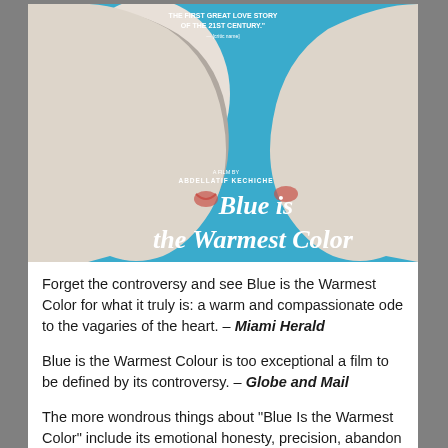[Figure (photo): Movie poster for 'Blue is the Warmest Color' directed by Abdellatif Kechiche, showing two faces in profile facing each other against a bright blue background with the film title in white script lettering. Text at top reads 'THE FIRST GREAT LOVE STORY OF THE 21ST CENTURY.']
Forget the controversy and see Blue is the Warmest Color for what it truly is: a warm and compassionate ode to the vagaries of the heart. – Miami Herald
Blue is the Warmest Colour is too exceptional a film to be defined by its controversy. – Globe and Mail
The more wondrous things about “Blue Is the Warmest Color” include its emotional honesty, precision, abandon and